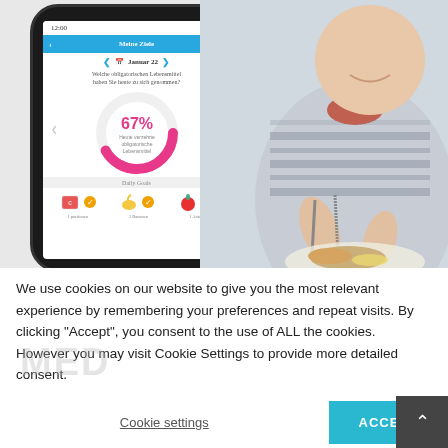[Figure (screenshot): Split image: left half shows a smartphone app screenshot with a blue header 'Meine Ziele', date 'Januar 22', a question about mandatory foods consumed, a donut chart showing 67% with label 'Heute verzehrte obligatorische Lebensmittel', a 'Daily Goals' section with food icons; right half shows a person in a striped shirt eating a meal with fish and vegetables.]
We use cookies on our website to give you the most relevant experience by remembering your preferences and repeat visits. By clicking “Accept”, you consent to the use of ALL the cookies. However you may visit Cookie Settings to provide more detailed consent.
Cookie settings
ACCEPT